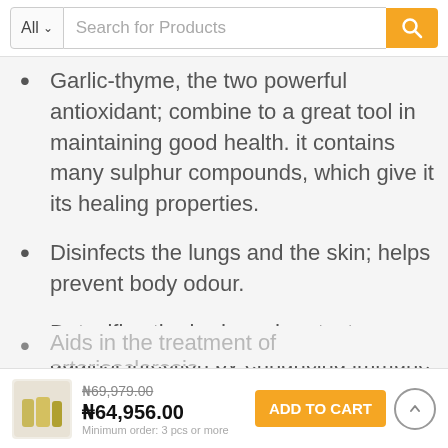All — Search for Products
Garlic-thyme, the two powerful antioxidant; combine to a great tool in maintaining good health. it contains many sulphur compounds, which give it its healing properties.
Disinfects the lungs and the skin; helps prevent body odour.
Detoxifies the body and protects against infection by enhancing immune function.
Lowers blood pressure and improves circulation.
Aids in the treatment of arteriosclerosis...
₦69,979.00  ₦64,956.00  ADD TO CART